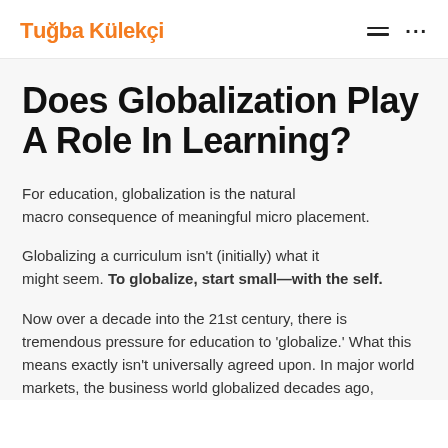Tuğba Külekçi
Does Globalization Play A Role In Learning?
For education, globalization is the natural macro consequence of meaningful micro placement.
Globalizing a curriculum isn't (initially) what it might seem. To globalize, start small—with the self.
Now over a decade into the 21st century, there is tremendous pressure for education to 'globalize.' What this means exactly isn't universally agreed upon. In major world markets, the business world globalized decades ago,